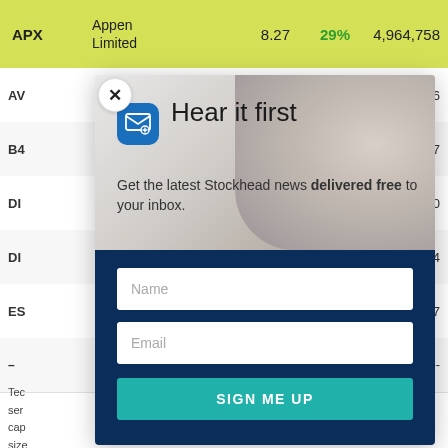| Ticker | Name | Price | Change% | Volume |
| --- | --- | --- | --- | --- |
| APX | Appen Limited | 8.27 | 29% | 4,964,758 |
| AV |  |  |  | 56 |
| B4 |  |  |  | 57 |
| DI |  |  |  | 70 |
| DI |  |  |  | 14 |
| ES |  |  |  | 87 |
| – |  |  |  | -- |
[Figure (screenshot): Email signup modal overlay on a financial data table. Modal shows a groundhog/marmot background image, envelope icon, 'Hear it first' title, 'Get the latest Stockhead news delivered free to your inbox.' subtitle, Name and Email input fields, and a teal 'SIGN ME UP' button on a dark navy background.]